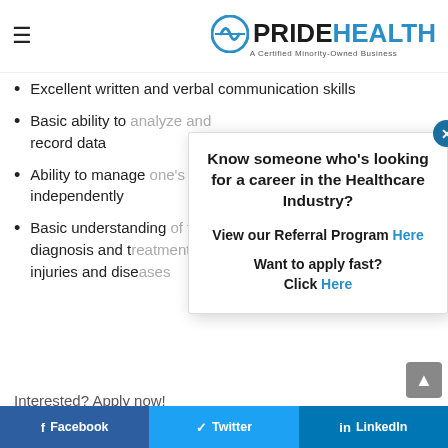PRIDEHEALTH — A Certified Minority-Owned Business
Excellent written and verbal communication skills
Basic ability to analyze and record data
Ability to manage one's time independently
Basic understanding of the diagnosis and treatment of injuries and diseases
Interested? Apply now!
#CB
[Figure (infographic): Popup modal overlay with referral program information: 'Know someone who's looking for a career in the Healthcare Industry? View our Referral Program Here. Want to apply fast? Click Here.' with a close button (X).]
Facebook  Twitter  LinkedIn